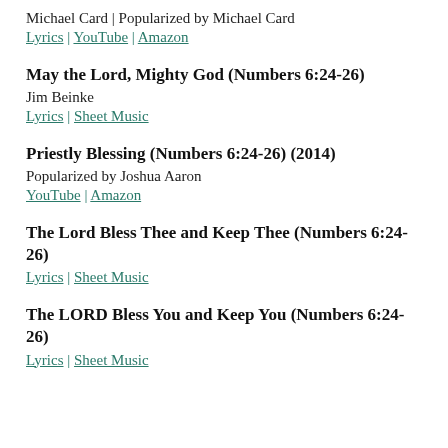Michael Card | Popularized by Michael Card
Lyrics | YouTube | Amazon
May the Lord, Mighty God (Numbers 6:24-26)
Jim Beinke
Lyrics | Sheet Music
Priestly Blessing (Numbers 6:24-26) (2014)
Popularized by Joshua Aaron
YouTube | Amazon
The Lord Bless Thee and Keep Thee (Numbers 6:24-26)
Lyrics | Sheet Music
The LORD Bless You and Keep You (Numbers 6:24-26)
Lyrics | Sheet Music